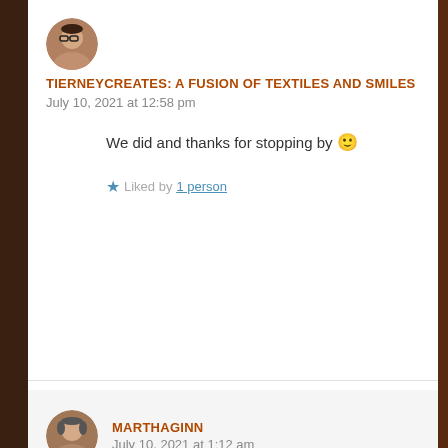[Figure (photo): Circular avatar of a person with glasses, brownish tones]
TIERNEYCREATES: A FUSION OF TEXTILES AND SMILES
July 10, 2021 at 12:58 pm
We did and thanks for stopping by 🙂
★ Liked by 1 person
[Figure (photo): Circular avatar of a person, brownish tones]
MARTHAGINN
July 10, 2021 at 1:12 am
tierneycreates Beasie, I know you and T had a blast getting to go to a quilt festival after so long. It must